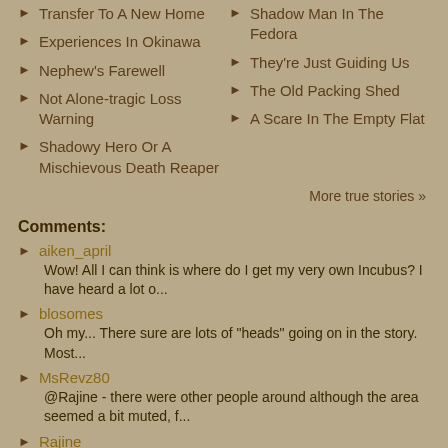Transfer To A New Home
Experiences In Okinawa
Nephew's Farewell
Not Alone-tragic Loss Warning
Shadowy Hero Or A Mischievous Death Reaper
Shadow Man In The Fedora
They're Just Guiding Us
The Old Packing Shed
A Scare In The Empty Flat
More true stories »
Comments:
aiken_april
Wow! All I can think is where do I get my very own Incubus? I have heard a lot o...
blosomes
Oh my... There sure are lots of "heads" going on in the story. Most...
MsRevz80
@Rajine - there were other people around although the area seemed a bit muted, f...
Rajine